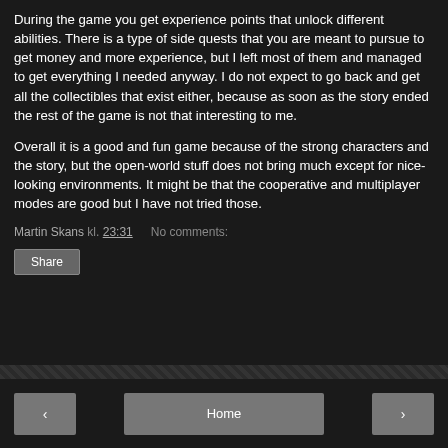During the game you get experience points that unlock different abilities. There is a type of side quests that you are meant to pursue to get money and more experience, but I left most of them and managed to get everything I needed anyway. I do not expect to go back and get all the collectibles that exist either, because as soon as the story ended the rest of the game is not that interesting to me.
Overall it is a good and fun game because of the strong characters and the story, but the open-world stuff does not bring much except for nice-looking environments. It might be that the cooperative and multiplayer modes are good but I have not tried those.
Martin Skans kl. 23:31   No comments:
Share
< Home >